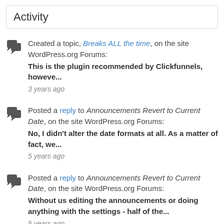Activity
Created a topic, Breaks ALL the time, on the site WordPress.org Forums: This is the plugin recommended by Clickfunnels, howeve... 3 years ago
Posted a reply to Announcements Revert to Current Date, on the site WordPress.org Forums: No, I didn't alter the date formats at all. As a matter of fact, we... 5 years ago
Posted a reply to Announcements Revert to Current Date, on the site WordPress.org Forums: Without us editing the announcements or doing anything with the settings - half of the... 5 years ago